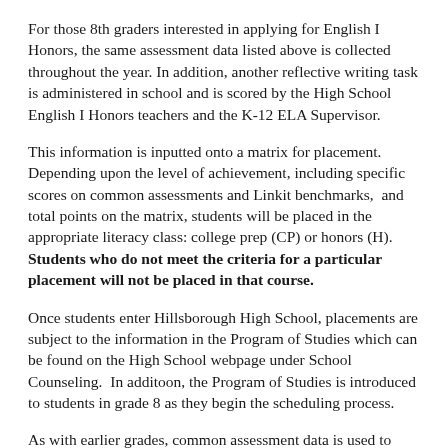For those 8th graders interested in applying for English I Honors, the same assessment data listed above is collected throughout the year. In addition, another reflective writing task is administered in school and is scored by the High School English I Honors teachers and the K-12 ELA Supervisor.
This information is inputted onto a matrix for placement. Depending upon the level of achievement, including specific scores on common assessments and Linkit benchmarks, and total points on the matrix, students will be placed in the appropriate literacy class: college prep (CP) or honors (H). Students who do not meet the criteria for a particular placement will not be placed in that course.
Once students enter Hillsborough High School, placements are subject to the information in the Program of Studies which can be found on the High School webpage under School Counseling. In additoon, the Program of Studies is introduced to students in grade 8 as they begin the scheduling process.
As with earlier grades, common assessment data is used to assist in making decisions. Additionally, semester one grades